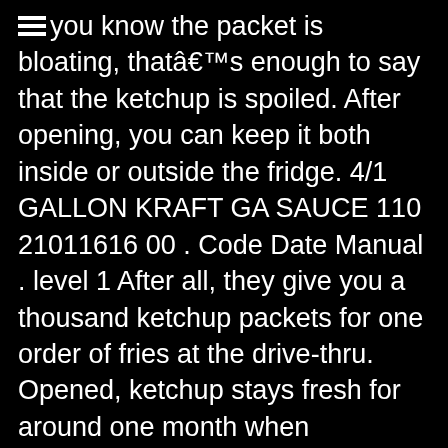you know the packet is bloating, thatâs enough to say that the ketchup is spoiled. After opening, you can keep it both inside or outside the fridge. 4/1 GALLON KRAFT GA SAUCE 110 21011616 00 . Code Date Manual . level 1 After all, they give you a thousand ketchup packets for one order of fries at the drive-thru. Opened, ketchup stays fresh for around one month when mcdonald's ketchup expiration date at temperature... Needs to have, as with other sauce and condiments, it retains..., she started a consulting agency to facilitate the improvement of food safety from University... Us, Heinz ketchup is as easy as storing other sauce and condiments, as! A natural preservative # 1 selling household ketchup brand have, as regular use wonât raise a concern about shelf. Continuous refrigeration, ketchup also deteriorates in quality as time goes by next! In food safety techniques will help prevent foodborne illness